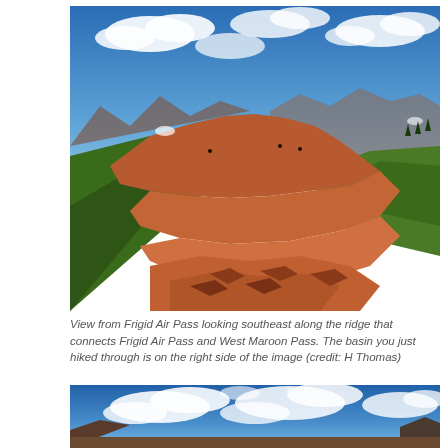[Figure (photo): Panoramic photo from Frigid Air Pass looking southeast along a rocky red ridge connecting to West Maroon Pass. Green alpine meadows on both sides, blue sky with white clouds above, mountains in the background.]
View from Frigid Air Pass looking southeast along the ridge that connects Frigid Air Pass and West Maroon Pass. The basin you just hiked through is on the right side of the image (credit: H Thomas)
[Figure (photo): Panoramic photo showing a deep blue sky with white puffy clouds, mountains visible at the lower edges, similar alpine setting.]